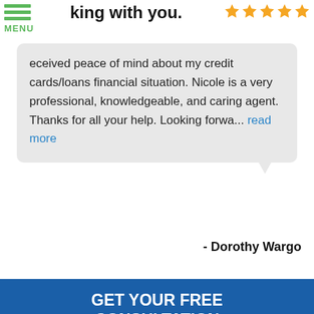[Figure (other): Hamburger menu icon with three green horizontal lines and MENU label below]
king with you.
[Figure (other): Five gold star rating icons]
eceived peace of mind about my credit cards/loans financial situation. Nicole is a very professional, knowledgeable, and caring agent. Thanks for all your help. Looking forwa... read more
- Dorothy Wargo
GET YOUR FREE CONSULTATION
If you have any questions or comments please fill out the following form and one of our representatives will contact you as soon as possible.